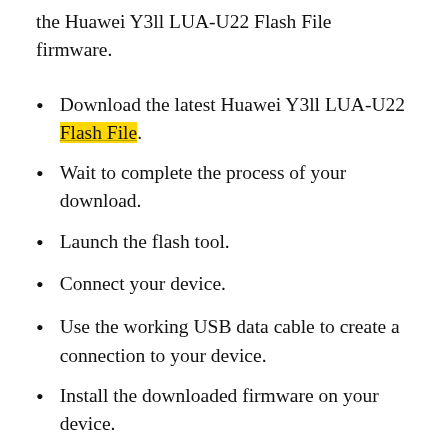the Huawei Y3ll LUA-U22 Flash File firmware.
Download the latest Huawei Y3ll LUA-U22 Flash File.
Wait to complete the process of your download.
Launch the flash tool.
Connect your device.
Use the working USB data cable to create a connection to your device.
Install the downloaded firmware on your device.
So, the Huawei Y3ll LUA-U22 Flash File is being posted below to download free. Thanks for visiting